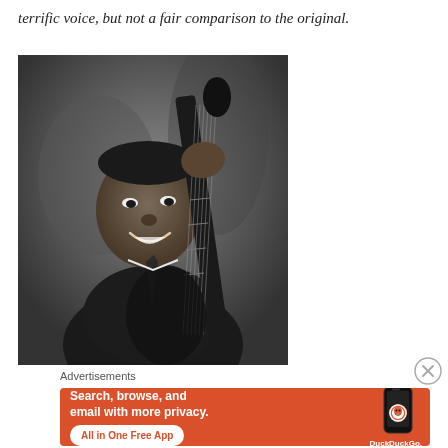terrific voice, but not a fair comparison to the original.
[Figure (photo): Black and white photograph of a man smiling and holding a guitar, wearing a dark suit.]
Advertisements
[Figure (infographic): DuckDuckGo advertisement banner with orange background. Text reads: Search, browse, and email with more privacy. All in One Free App. Shows DuckDuckGo logo and a smartphone mockup.]